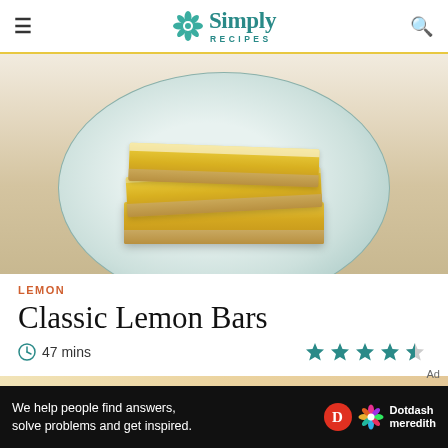Simply Recipes
[Figure (photo): Stack of classic lemon bars with powdered sugar on a light blue plate]
LEMON
Classic Lemon Bars
47 mins  ★★★★½
We help people find answers, solve problems and get inspired. Dotdash meredith